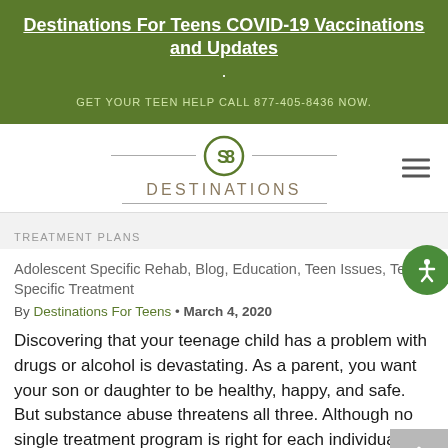Destinations For Teens COVID-19 Vaccinations and Updates
GET YOUR TEEN HELP CALL 877-405-8436 NOW.
[Figure (logo): Destinations logo with stylized double-circle icon and horizontal rules above and below the word DESTINATIONS]
TREATMENT PLANS
Adolescent Specific Rehab, Blog, Education, Teen Issues, Teen Specific Treatment
By Destinations For Teens • March 4, 2020
Discovering that your teenage child has a problem with drugs or alcohol is devastating. As a parent, you want your son or daughter to be healthy, happy, and safe. But substance abuse threatens all three. Although no single treatment program is right for each individual, says the